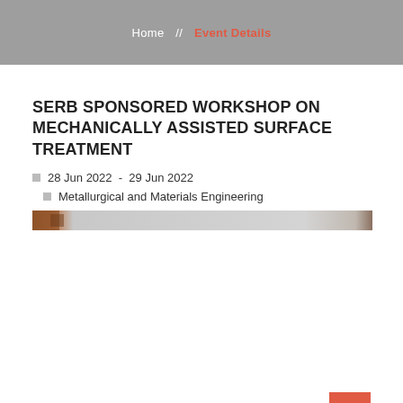Home // Event Details
SERB SPONSORED WORKSHOP ON MECHANICALLY ASSISTED SURFACE TREATMENT
28 Jun 2022  -  29 Jun 2022
Metallurgical and Materials Engineering
[Figure (photo): Horizontal banner/header image strip showing a building exterior, mostly grey with brown edges]
Prof. Anindya Basu , Prof. Krishna Dutta
Contact for Event Details (partially visible link)